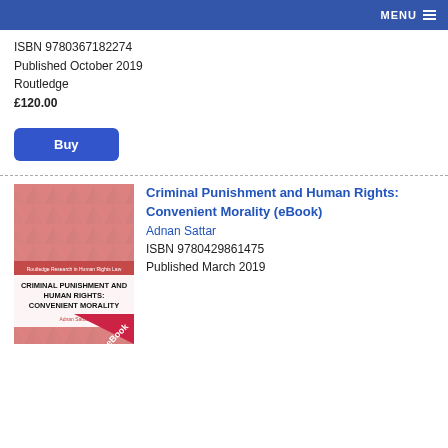MENU
ISBN 9780367182274
Published October 2019
Routledge
£120.00
Buy
[Figure (illustration): Book cover for Criminal Punishment and Human Rights: Convenient Morality (eBook) by Adnan Sattar. Pink/red geometric triangle pattern background with eBook ribbon badge.]
Criminal Punishment and Human Rights: Convenient Morality (eBook)
Adnan Sattar
ISBN 9780429861475
Published March 2019